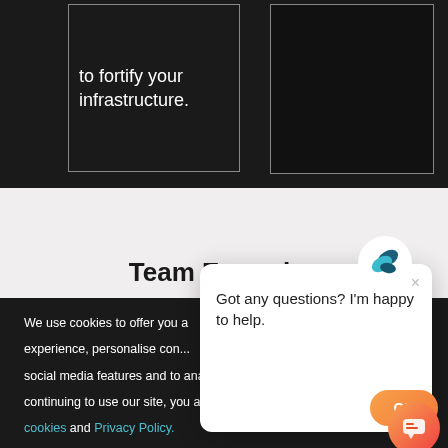to fortify your infrastructure.
Team Expertise
We use cookies to offer you a better experience, personalise content, social media features and to analyse our traffic. By continuing to use our site, you accept our use of cookies and Privacy Policy.
[Figure (screenshot): Chat popup overlay with a robot/bird logo, close button (×), and message 'Got any questions? I'm happy to help.']
[Figure (other): Orange OK button and orange chat bubble icon button]